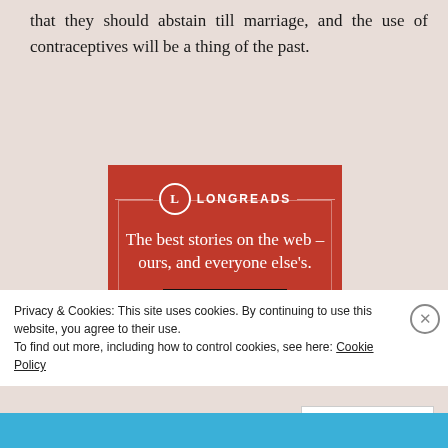that they should abstain till marriage, and the use of contraceptives will be a thing of the past.
[Figure (advertisement): Longreads advertisement with red background showing logo, tagline 'The best stories on the web – ours, and everyone else's.' and 'Start reading' button]
Privacy & Cookies: This site uses cookies. By continuing to use this website, you agree to their use.
To find out more, including how to control cookies, see here: Cookie Policy
Close and accept